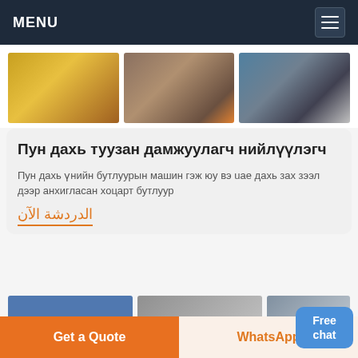MENU
[Figure (photo): Three construction/mining equipment photos: yellow crusher machine, mining excavation site with orange equipment, and industrial conveyor belt structure]
[Figure (photo): Blue chat assistant button with person illustration and 'Free chat' label]
Пун дахь туузан дамжуулагч нийлүүлэгч
Пун дахь үнийн бутлуурын машин гэж юу вэ uae дахь зах зээл дээр анхигласан хоцарт бутлуур
الدردشة الآن
[Figure (photo): Partial view of three more mining/industrial equipment images at the bottom]
Get a Quote
WhatsApp